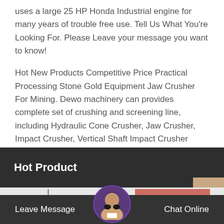uses a large 25 HP Honda Industrial engine for many years of trouble free use. Tell Us What You're Looking For. Please Leave your message you want to know!
Hot New Products Competitive Price Practical Processing Stone Gold Equipment Jaw Crusher For Mining. Dewo machinery can provides complete set of crushing and screening line, including Hydraulic Cone Crusher, Jaw Crusher, Impact Crusher, Vertical Shaft Impact Crusher (Sand Making Machine), fixed and movable rock crushing line, but also provides
Hot Product
Leave Message   Chat Online